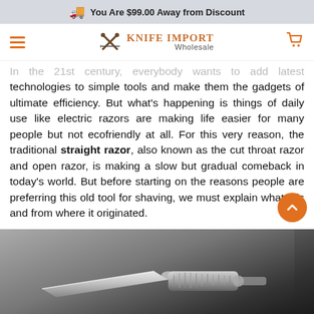You Are $99.00 Away from Discount
[Figure (logo): Knife Import Wholesale logo with crossed knives icon and navigation bar with hamburger menu and cart icon]
In the 21st century, everybody wants to add latest technologies to simple tools and make them the gadgets of ultimate efficiency. But what's happening is things of daily use like electric razors are making life easier for many people but not ecofriendly at all. For this very reason, the traditional straight razor, also known as the cut throat razor and open razor, is making a slow but gradual comeback in today's world. But before starting on the reasons people are preferring this old tool for shaving, we must explain what it is and from where it originated.
[Figure (photo): A decorative straight razor (cut throat razor) with an ornate handle featuring engraved floral/tiger patterns, blade open, resting on a dark surface. Watermark: KnifeImport.com]